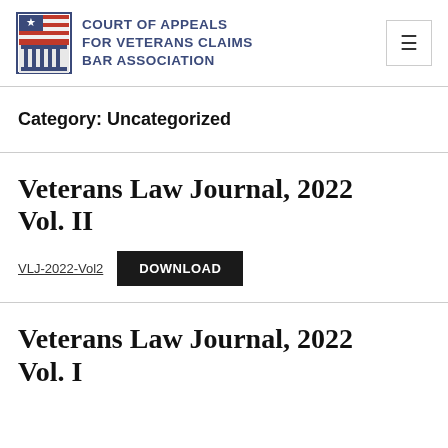Court of Appeals for Veterans Claims Bar Association
Category: Uncategorized
Veterans Law Journal, 2022 Vol. II
VLJ-2022-Vol2  DOWNLOAD
Veterans Law Journal, 2022 Vol. I